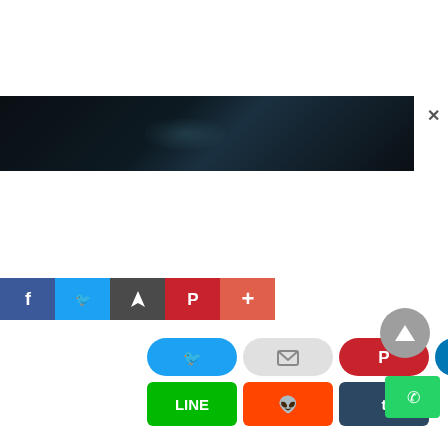[Figure (screenshot): Dark/black movie or video banner with a subtle light glare in the center-left area, with a white close (X) button in the top-right corner]
[Figure (screenshot): Social media sharing buttons row: Facebook (blue), Twitter (light blue), Share (dark gray), Pinterest (red), and a plus/more button (salmon/red-orange), all as square icons]
[Figure (screenshot): Oval social share buttons: Twitter (blue bird), Email (gray envelope), Pinterest (red P), LinkedIn (blue in)]
[Figure (screenshot): Square social share buttons: LINE (green), Reddit (orange alien), Tumblr (dark blue t)]
[Figure (screenshot): Gray circular scroll-to-top arrow button (right side)]
[Figure (screenshot): Green WhatsApp share button (bottom right)]